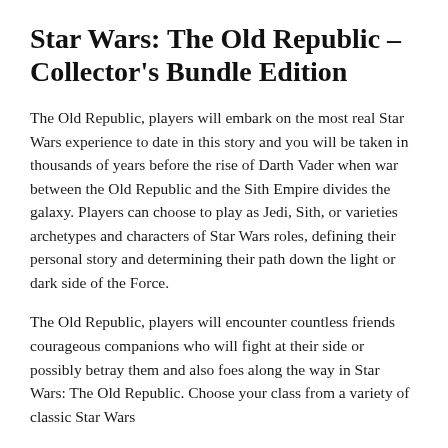Star Wars: The Old Republic – Collector's Bundle Edition
The Old Republic, players will embark on the most real Star Wars experience to date in this story and you will be taken in thousands of years before the rise of Darth Vader when war between the Old Republic and the Sith Empire divides the galaxy. Players can choose to play as Jedi, Sith, or varieties archetypes and characters of Star Wars roles, defining their personal story and determining their path down the light or dark side of the Force.
The Old Republic, players will encounter countless friends courageous companions who will fight at their side or possibly betray them and also foes along the way in Star Wars: The Old Republic. Choose your class from a variety of classic Star Wars